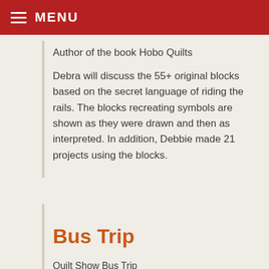MENU
Author of the book Hobo Quilts
Debra will discuss the 55+ original blocks based on the secret language of riding the rails. The blocks recreating symbols are shown as they were drawn and then as interpreted. In addition, Debbie made 21 projects using the blocks.
Bus Trip
Quilt Show Bus Trip
Saturday, September 16, 2017
The York Quilters' Guild is sponsoring a bus trip